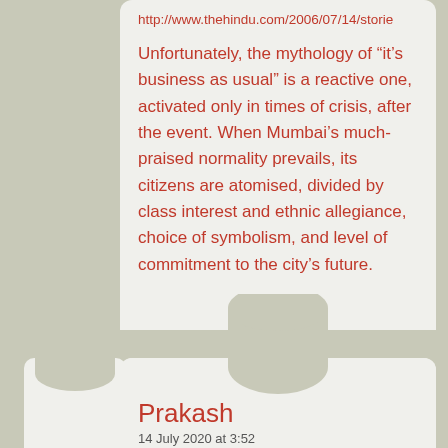http://www.thehindu.com/2006/07/14/storie
Unfortunately, the mythology of “it’s business as usual” is a reactive one, activated only in times of crisis, after the event. When Mumbai’s much-praised normality prevails, its citizens are atomised, divided by class interest and ethnic allegiance, choice of symbolism, and level of commitment to the city’s future.
Loading...
Prakash
14 July 2020 at 3:52